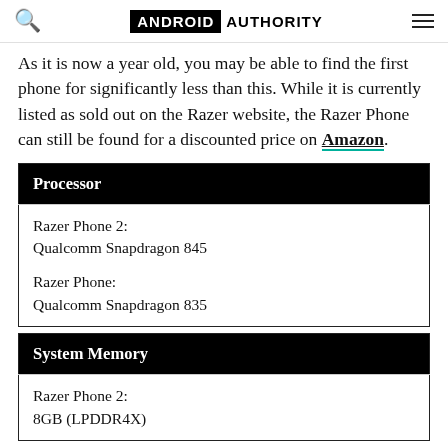ANDROID AUTHORITY
As it is now a year old, you may be able to find the first phone for significantly less than this. While it is currently listed as sold out on the Razer website, the Razer Phone can still be found for a discounted price on Amazon.
| Processor |
| --- |
| Razer Phone 2:
Qualcomm Snapdragon 845 |
| Razer Phone:
Qualcomm Snapdragon 835 |
| System Memory |
| --- |
| Razer Phone 2:
8GB (LPDDR4X) |